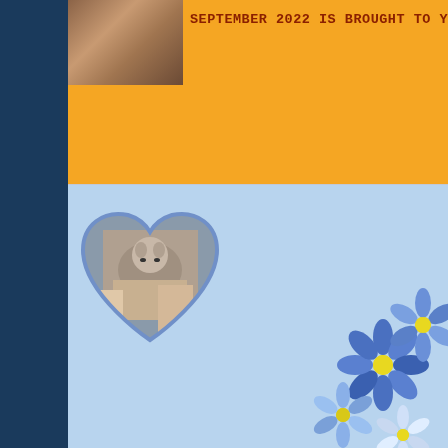[Figure (screenshot): Top orange banner with squirrel image and text 'SEPTEMBER 2022 IS BROUGHT TO YOU BY CHICKEN']
[Figure (illustration): Blue memorial banner with heart-shaped squirrel photo, blue flowers on right, text 'In loving memory of Nancy in New York']
In loving memory of Nancy in New York
Thread: Pet Grey Squirrel - Lesion under arm - Safe antibio...
10-23-2021,   12:19 AM
SamtheSquirrel2018
Senior Member